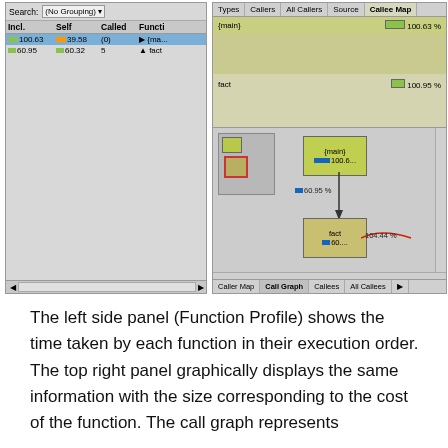[Figure (screenshot): A software profiler UI screenshot showing a left panel (Function Profile) with a table listing functions with Incl., Self, Called, and Function columns. Two rows visible: {main} with 100.63/39.58/(0) and fact with 60.95/60.32/5. The right panel shows tabs (Types, Callers, All Callers, Source, Callee Map) with Callee Map active, showing {main} at 100.63% and fact at 100.95% in the top section. A call graph in the bottom right shows nodes for {main} (100.6...) and fact (60....) connected with arrows, with percentage labels 60.95% and 104.44%. Bottom tabs show Caller Map, Call Graph, Callees, All Callees.]
The left side panel (Function Profile) shows the time taken by each function in their execution order. The top right panel graphically displays the same information with the size corresponding to the cost of the function. The call graph represents the relation between functions in the